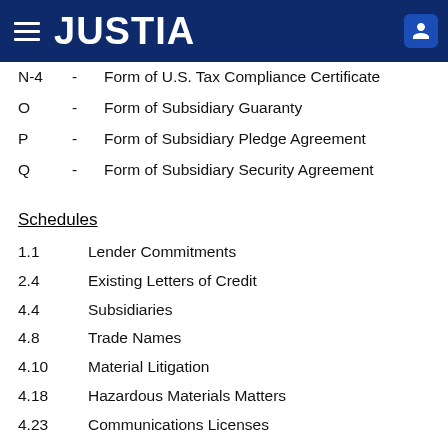JUSTIA
N-4  -  Form of U.S. Tax Compliance Certificate
O  -  Form of Subsidiary Guaranty
P  -  Form of Subsidiary Pledge Agreement
Q  -  Form of Subsidiary Security Agreement
Schedules
1.1  Lender Commitments
2.4  Existing Letters of Credit
4.4  Subsidiaries
4.8  Trade Names
4.10  Material Litigation
4.18  Hazardous Materials Matters
4.23  Communications Licenses
5.4  Insurance
6.9  Existing Liens